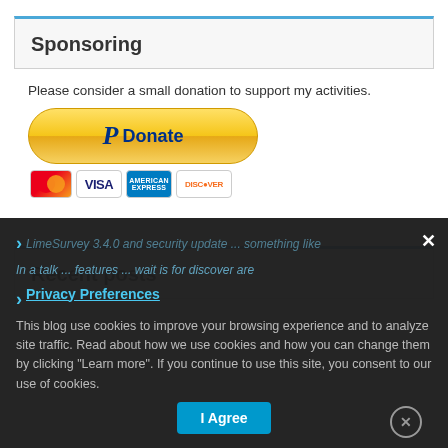Sponsoring
Please consider a small donation to support my activities.
[Figure (other): PayPal Donate button with credit card icons (Mastercard, Visa, American Express, Discover)]
Recent posts
This blog use cookies to improve your browsing experience and to analyze site traffic. Read about how we use cookies and how you can change them by clicking "Learn more". If you continue to use this site, you consent to our use of cookies.
Privacy Preferences
I Agree